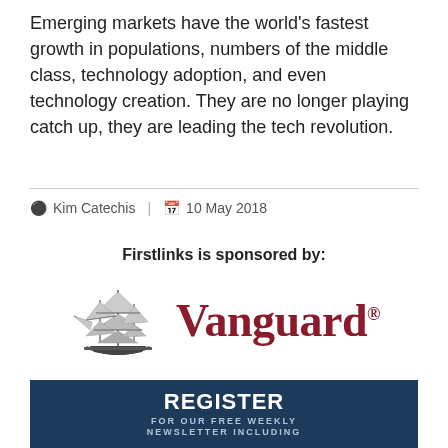Emerging markets have the world’s fastest growth in populations, numbers of the middle class, technology adoption, and even technology creation. They are no longer playing catch up, they are leading the tech revolution.
Kim Catechis | 10 May 2018
Firstlinks is sponsored by:
[Figure (logo): Vanguard logo with sailing ship illustration and bold red Vanguard text]
[Figure (infographic): Dark navy blue banner reading REGISTER FOR OUR FREE WEEKLY NEWSLETTER INCLUDING]